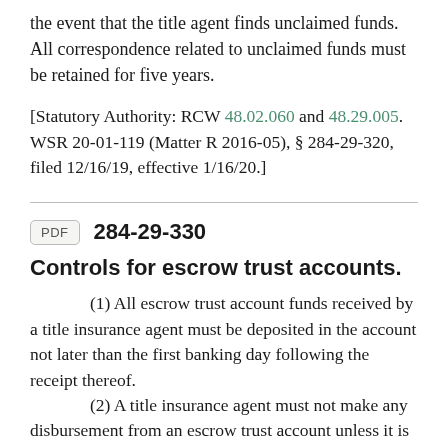the event that the title agent finds unclaimed funds. All correspondence related to unclaimed funds must be retained for five years.
[Statutory Authority: RCW 48.02.060 and 48.29.005. WSR 20-01-119 (Matter R 2016-05), § 284-29-320, filed 12/16/19, effective 1/16/20.]
284-29-330
Controls for escrow trust accounts.
(1) All escrow trust account funds received by a title insurance agent must be deposited in the account not later than the first banking day following the receipt thereof.
(2) A title insurance agent must not make any disbursement from an escrow trust account unless it is in compliance with RCW 48.29.190 (1)(c).
(3) Escrow trust accounts and operating